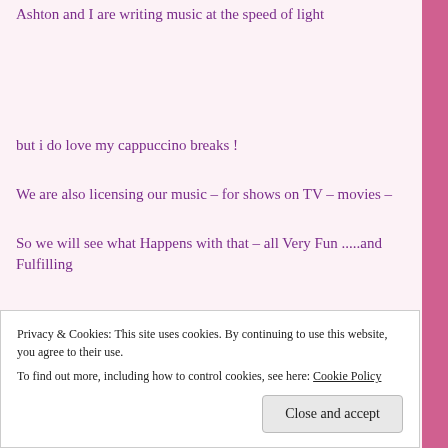Ashton and I are writing music at the speed of light
but i do love my cappuccino breaks !
We are also licensing our music – for shows on TV – movies –
So we will see what Happens with that – all Very Fun .....and Fulfilling
Privacy & Cookies: This site uses cookies. By continuing to use this website, you agree to their use.
To find out more, including how to control cookies, see here: Cookie Policy
Close and accept